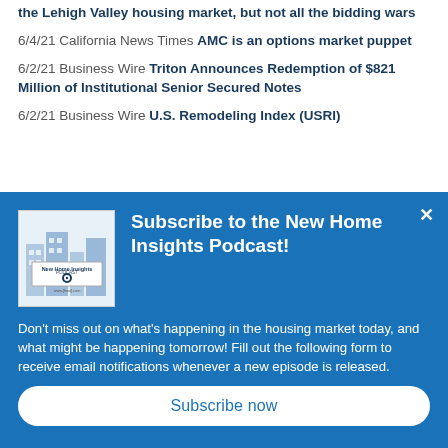the Lehigh Valley housing market, but not all the bidding wars
6/4/21 California News Times AMC is an options market puppet
6/2/21 Business Wire Triton Announces Redemption of $821 Million of Institutional Senior Secured Notes
6/2/21 Business Wire U.S. Remodeling Index (USRI)
Subscribe to the New Home Insights Podcast!
Don't miss out on what's happening in the housing market today, and what might be happening tomorrow! Fill out the following form to receive email notifications whenever a new episode is released.
Subscribe now